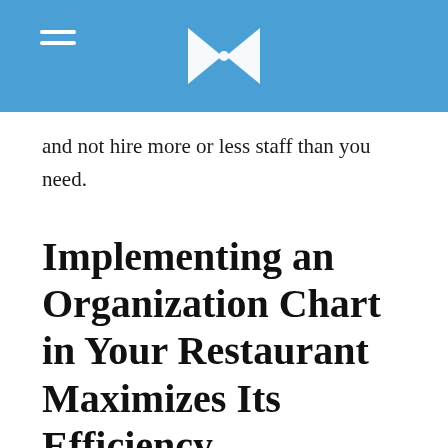and not hire more or less staff than you need.
Implementing an Organization Chart in Your Restaurant Maximizes Its Efficiency
The organizational charts can evolve with